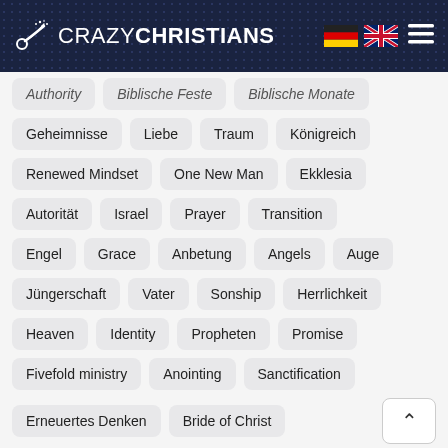[Figure (logo): CrazyChristians website header with logo (trumpet with stars), site name CRAZY CHRISTIANS in white on dark navy background, German flag, UK flag, and hamburger menu icon]
Authority
Biblische Feste
Biblische Monate
Geheimnisse
Liebe
Traum
Königreich
Renewed Mindset
One New Man
Ekklesia
Autorität
Israel
Prayer
Transition
Engel
Grace
Anbetung
Angels
Auge
Jüngerschaft
Vater
Sonship
Herrlichkeit
Heaven
Identity
Propheten
Promise
Fivefold ministry
Anointing
Sanctification
Erneuertes Denken
Bride of Christ
Biblical Months
Light
Heilung